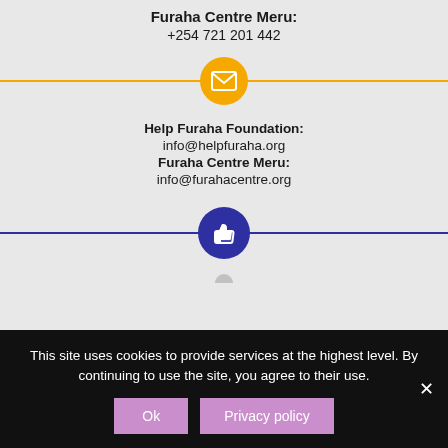Furaha Centre Meru: +254 721 201 442
[Figure (illustration): Yellow circle with white envelope/email icon, centered on a horizontal yellow divider line]
Help Furaha Foundation: info@helpfuraha.org Furaha Centre Meru: info@furahacentre.org
[Figure (illustration): Dark blue circle with white thumbs-up icon, centered on a horizontal dark blue divider line]
This site uses cookies to provide services at the highest level. By continuing to use the site, you agree to their use.
Ok  Privacy policy